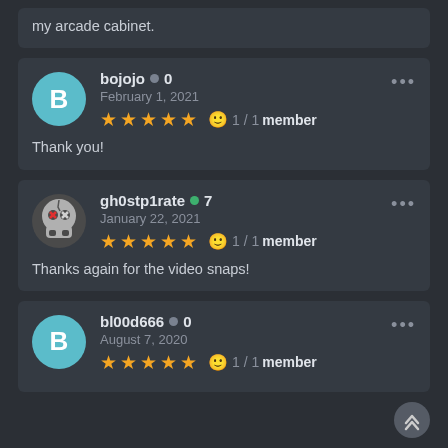my arcade cabinet.
bojojo ● 0
February 1, 2021
★★★★★ 🙂 1/1 member
Thank you!
gh0stp1rate ● 7
January 22, 2021
★★★★★ 🙂 1/1 member
Thanks again for the video snaps!
bl00d666 ● 0
August 7, 2020
★★★★★ 🙂 1/1 member